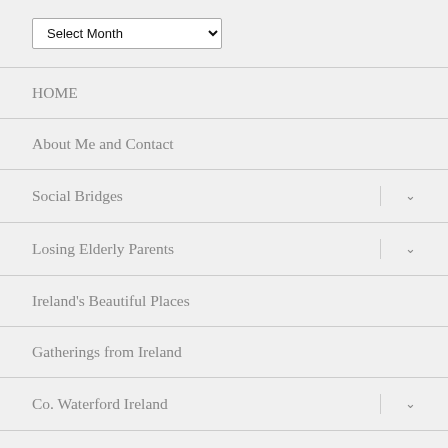[Figure (screenshot): Dropdown select box labeled 'Select Month' with a downward chevron]
HOME
About Me and Contact
Social Bridges
Losing Elderly Parents
Ireland's Beautiful Places
Gatherings from Ireland
Co. Waterford Ireland